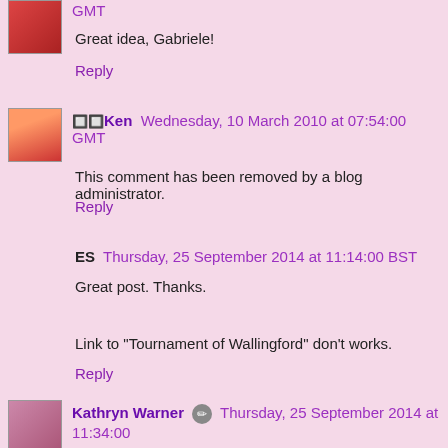GMT
Great idea, Gabriele!
Reply
🔲🔲Ken  Wednesday, 10 March 2010 at 07:54:00 GMT
This comment has been removed by a blog administrator.
Reply
ES  Thursday, 25 September 2014 at 11:14:00 BST
Great post. Thanks.
Link to "Tournament of Wallingford" don't works.
Reply
Kathryn Warner 🔘 Thursday, 25 September 2014 at 11:34:00 BST